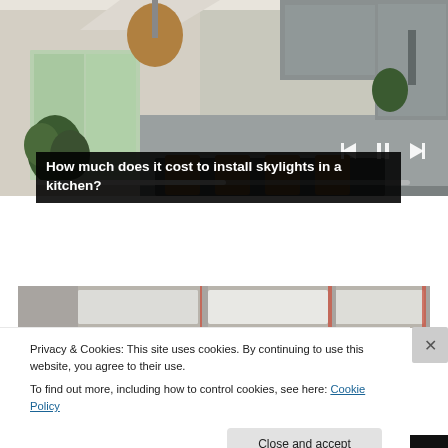[Figure (photo): Modern kitchen interior with island, bar stools, pendant light, and skylights visible overhead]
How much does it cost to install skylights in a kitchen?
[Figure (photo): Strip of skylight images showing rectangular skylights in roof from below]
Privacy & Cookies: This site uses cookies. By continuing to use this website, you agree to their use.
To find out more, including how to control cookies, see here: Cookie Policy
Close and accept